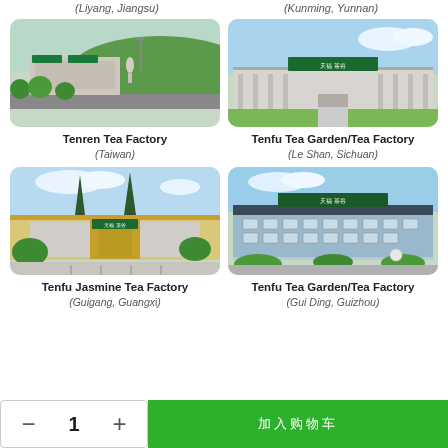(Liyang, Jiangsu)
(Kunming, Yunnan)
[Figure (photo): Tenren Tea Factory in Taiwan - building with green signage on hillside]
[Figure (photo): Tenfu Tea Garden/Tea Factory in Le Shan, Sichuan - long low building with green Tenfu signboard]
Tenren Tea Factory
(Taiwan)
Tenfu Tea Garden/Tea Factory
(Le Shan, Sichuan)
[Figure (photo): Tenfu Jasmine Tea Factory in Guigang, Guangxi - building with tall pine trees in front]
[Figure (photo): Tenfu Tea Garden/Tea Factory in Gui Ding, Guizhou - modern multi-story building with Tenfu signage]
Tenfu Jasmine Tea Factory
(Guigang, Guangxi)
Tenfu Tea Garden/Tea Factory
(Gui Ding, Guizhou)